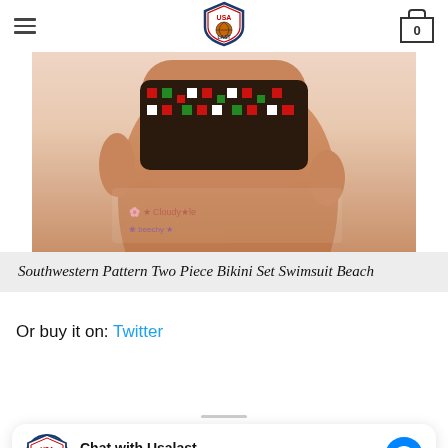USA LAST logo, hamburger menu, cart icon with 0
[Figure (photo): Close-up photo of a woman wearing a southwestern pattern two piece bikini set, cropped at waist/thigh area, with watermark logos overlaid]
Southwestern Pattern Two Piece Bikini Set Swimsuit Beach
Or buy it on: Twitter
Chat with Usalast
Hi! How can we help you?